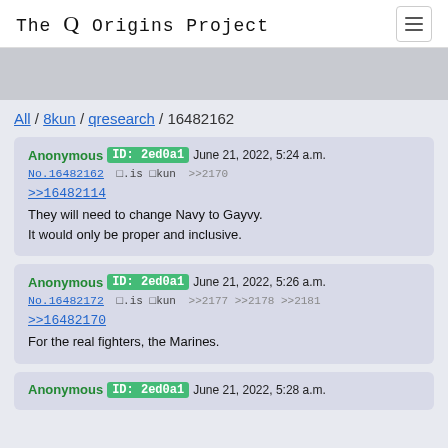The Q Origins Project
All / 8kun / qresearch / 16482162
Anonymous ID: 2ed0a1 June 21, 2022, 5:24 a.m.
No.16482162 [].is []kun >>2170
>>16482114
They will need to change Navy to Gayvy.
It would only be proper and inclusive.
Anonymous ID: 2ed0a1 June 21, 2022, 5:26 a.m.
No.16482172 [].is []kun >>2177 >>2178 >>2181
>>16482170
For the real fighters, the Marines.
Anonymous ID: 2ed0a1 June 21, 2022, 5:28 a.m.